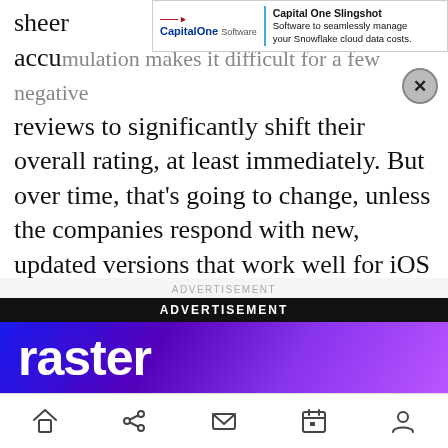[Figure (screenshot): Capital One Slingshot advertisement overlay banner with logo and text: 'Capital One Software | Capital One Slingshot - Software to seamlessly manage your Snowflake cloud data costs.' with a close (X) button.]
sheer accumulation makes it difficult for a few negative reviews to significantly shift their overall rating, at least immediately. But over time, that's going to change, unless the companies respond with new, updated versions that work well for iOS 7.

And those changes are massive business risks that major companies should not be taking. And they wouldn't be taking those risks if they had simply prepared for iOS 7 ... as they had months to do.
[Figure (screenshot): Advertisement section with 'ADVERTISEMENT' label, black bar with 'ADVERTISEMENT' text, and a purple/blue gradient banner showing the word 'raster' in large white text.]
[Figure (screenshot): Mobile browser bottom navigation bar with home, share, email, calendar, and profile icons.]